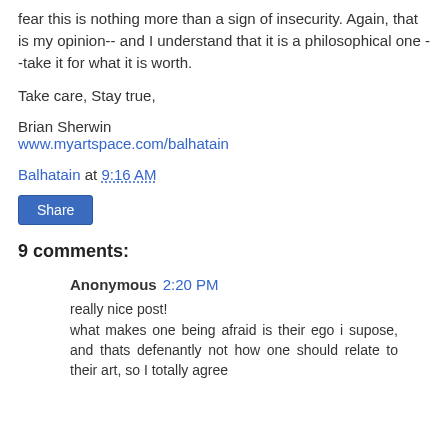fear this is nothing more than a sign of insecurity. Again, that is my opinion-- and I understand that it is a philosophical one --take it for what it is worth.
Take care, Stay true,
Brian Sherwin
www.myartspace.com/balhatain
Balhatain at 9:16 AM
Share
9 comments:
Anonymous 2:20 PM
really nice post!
what makes one being afraid is their ego i supose, and thats defenantly not how one should relate to their art, so I totally agree